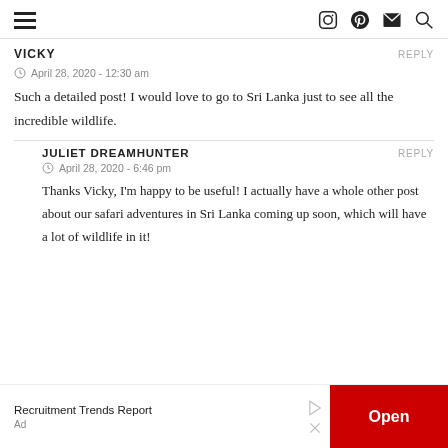Navigation header with hamburger menu and icons (Instagram, Pinterest, mail, search)
VICKY
April 28, 2020 - 12:30 am
Such a detailed post! I would love to go to Sri Lanka just to see all the incredible wildlife.
JULIET DREAMHUNTER
April 28, 2020 - 6:46 pm
Thanks Vicky, I'm happy to be useful! I actually have a whole other post about our safari adventures in Sri Lanka coming up soon, which will have a lot of wildlife in it!
Recruitment Trends Report
Ad
Open